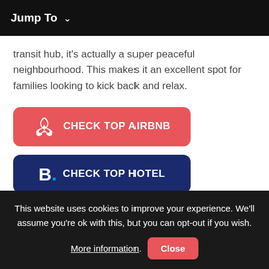Jump To ∨
transit hub, it's actually a super peaceful neighbourhood. This makes it an excellent spot for families looking to kick back and relax.
[Figure (other): Red rounded button with Airbnb logo icon and text CHECK TOP AIRBNB]
[Figure (other): Dark navy rounded button with Booking.com B logo and text CHECK TOP HOTEL]
This website uses cookies to improve your experience. We'll assume you're ok with this, but you can opt-out if you wish. More information. Close